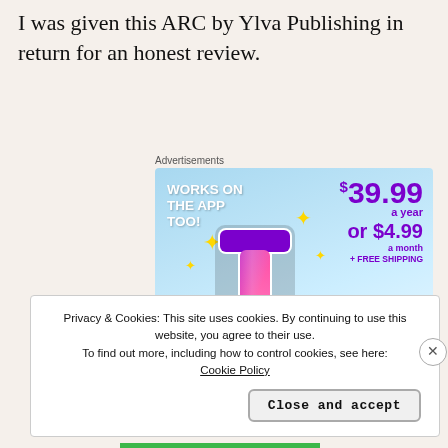I was given this ARC by Ylva Publishing in return for an honest review.
[Figure (screenshot): Advertisement banner for a subscription service. Shows 'WORKS ON THE APP TOO!' text on left, a large colorful 't' logo in the center, and pricing '$39.99 a year or $4.99 a month + FREE SHIPPING' on the right, on a light blue sky background with gold sparkles.]
Privacy & Cookies: This site uses cookies. By continuing to use this website, you agree to their use. To find out more, including how to control cookies, see here: Cookie Policy
Close and accept